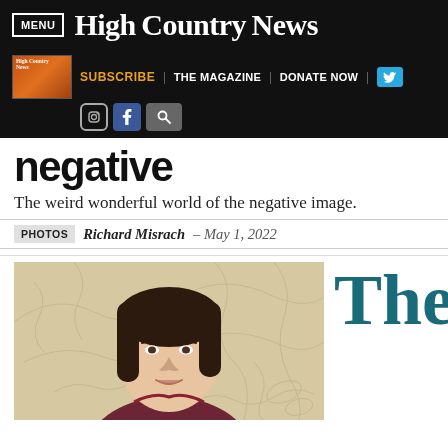MENU | High Country News
SUBSCRIBE | THE MAGAZINE | DONATE NOW | Instagram | Facebook | Search
negative
The weird wonderful world of the negative image.
PHOTOS  Richard Misrach – May 1, 2022
[Figure (photo): Portrait of a woman with long dark hair against a botanical illustrated background]
The